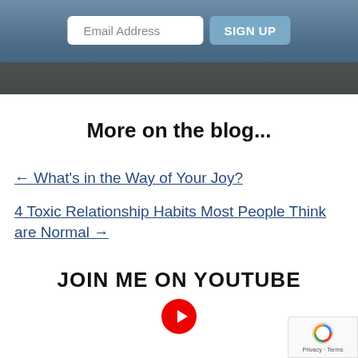[Figure (screenshot): Hero banner image showing a person working at a desk with a laptop. Overlaid email signup form with an 'Email Address' input field and a 'SIGN UP' button.]
More on the blog...
← What's in the Way of Your Joy?
4 Toxic Relationship Habits Most People Think are Normal →
JOIN ME ON YOUTUBE